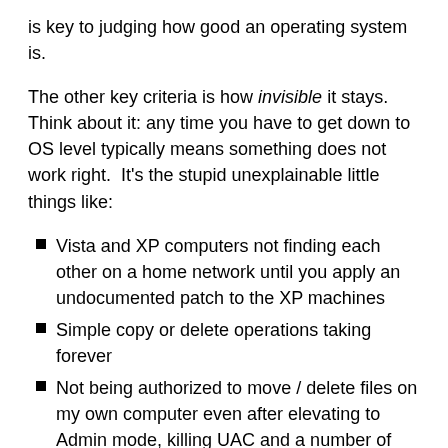is key to judging how good an operating system is.
The other key criteria is how invisible it stays. Think about it: any time you have to get down to OS level typically means something does not work right.  It's the stupid unexplainable little things like:
Vista and XP computers not finding each other on a home network until you apply an undocumented patch to the XP machines
Simple copy or delete operations taking forever
Not being authorized to move / delete files on my own computer even after elevating to Admin mode, killing UAC and a number of weird cryptic options that take an IT deapartment to deal with, not a home user
Windows upgrade failing if more than 3GB memory is installed
The latest Windows upgrade causing printer and camera drivers from several vendors reinstall themselves (some